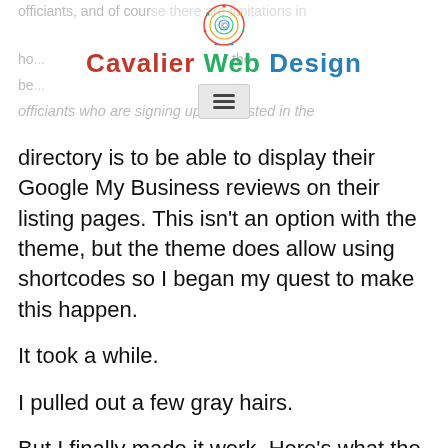Cavalier Web Design
officiants, and of course there are limitations in ho... the bo... officiants who are signing up to be listed in the directory is to be able to display their Google My Business reviews on their listing pages. This isn't an option with the theme, but the theme does allow using shortcodes so I began my quest to make this happen.
It took a while.
I pulled out a few gray hairs.
But I finally made it work. Here's what the result looks like. Check out this officiant listing page and look for the Google Reviews in the lower right of...